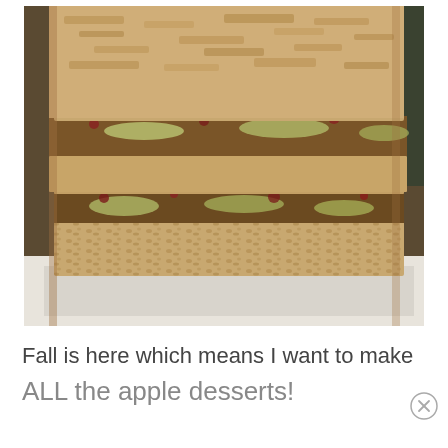[Figure (photo): Stacked apple oat bars with layers of oat crumble crust and apple cranberry filling, photographed close-up on a white surface with blurred background.]
Fall is here which means I want to make ALL the apple desserts!